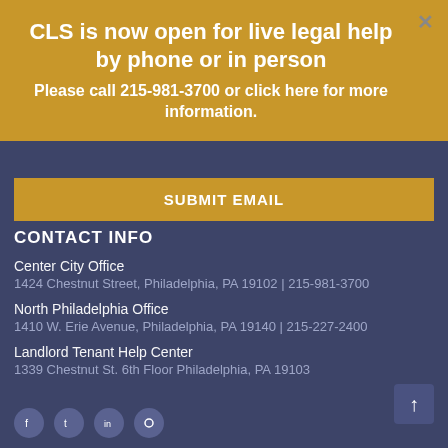CLS is now open for live legal help by phone or in person
Please call 215-981-3700 or click here for more information.
SUBMIT EMAIL
CONTACT INFO
Center City Office
1424 Chestnut Street, Philadelphia, PA 19102 | 215-981-3700
North Philadelphia Office
1410 W. Erie Avenue, Philadelphia, PA 19140 | 215-227-2400
Landlord Tenant Help Center
1339 Chestnut St. 6th Floor Philadelphia, PA 19103